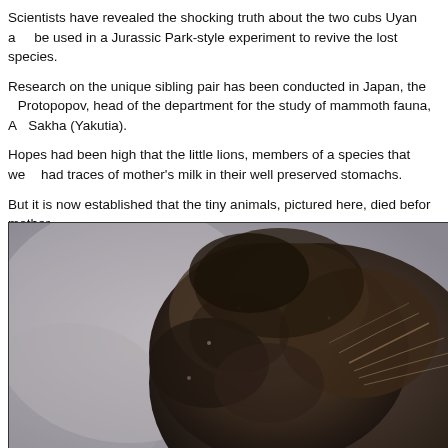Scientists have revealed the shocking truth about the two cubs Uyan and be used in a Jurassic Park-style experiment to revive the lost species.
Research on the unique sibling pair has been conducted in Japan, the Protopopov, head of the department for the study of mammoth fauna, A Sakha (Yakutia).
Hopes had been high that the little lions, members of a species that we had traces of mother's milk in their well preserved stomachs.
But it is now established that the tiny animals, pictured here, died before mother.
[Figure (photo): Close-up photograph of a frozen/mummified prehistoric cave lion cub showing dark fur preserved on its head, with a blurred grey background.]